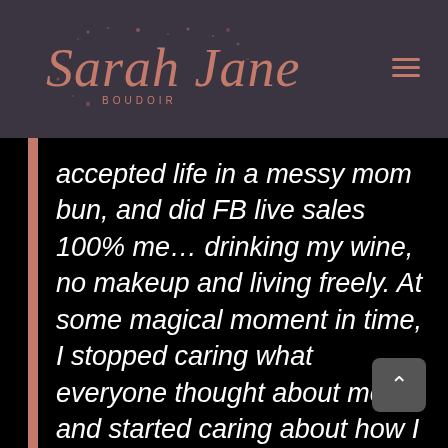[Figure (logo): Sarah Jane Boudoir script logo in rose-gold/salmon color on dark background with decorative sparkle elements]
accepted life in a messy mom bun, and did FB live sales 100% me… drinking my wine, no makeup and living freely. At some magical moment in time, I stopped caring what everyone thought about me, and started caring about how I thought about me.